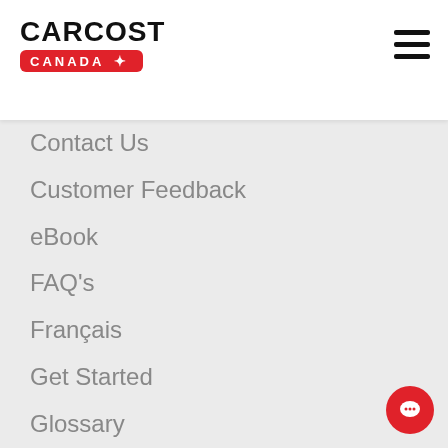[Figure (logo): CarCost Canada logo with red badge]
Contact Us
Customer Feedback
eBook
FAQ's
Français
Get Started
Glossary
How to get best deal
Live Chat
Media Gallery
Member Benefits
Mobile Apps
New Car Buyer Reviews
News & Reviews
Privacy Policy
Research Used Cars